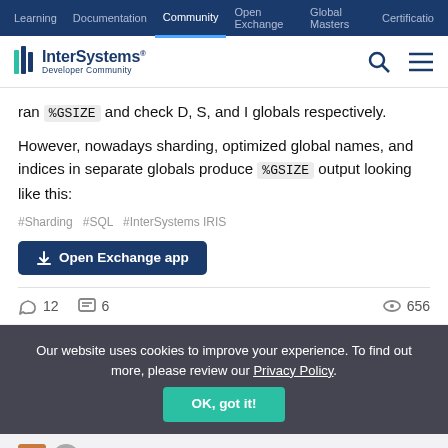Learning | Documentation | Community | Open Exchange | Global Masters | Certification
[Figure (logo): InterSystems Developer Community logo with search and menu icons]
ran %GSIZE and check D, S, and I globals respectively.
However, nowadays sharding, optimized global names, and indices in separate globals produce %GSIZE output looking like this:
#Sharding #SQL #InterSystems IRIS
Open Exchange app
12  6  656
Our website uses cookies to improve your experience. To find out more, please review our Privacy Policy.
OK, got it!
Deploying a sharded cluster with Docker and MergeCPF